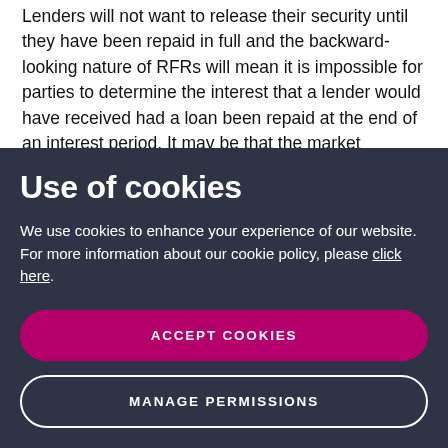Lenders will not want to release their security until they have been repaid in full and the backward-looking nature of RFRs will mean it is impossible for parties to determine the interest that a lender would have received had a loan been repaid at the end of an interest period. It may be that the market corrects
Use of cookies
We use cookies to enhance your experience of our website. For more information about our cookie policy, please click here.
ACCEPT COOKIES
MANAGE PERMISSIONS